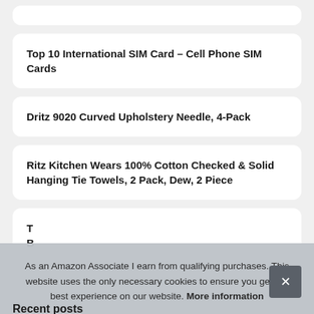Top 10 International SIM Card – Cell Phone SIM Cards
Dritz 9020 Curved Upholstery Needle, 4-Pack
Ritz Kitchen Wears 100% Cotton Checked & Solid Hanging Tie Towels, 2 Pack, Dew, 2 Piece
As an Amazon Associate I earn from qualifying purchases. This website uses the only necessary cookies to ensure you get the best experience on our website. More information
Recent posts